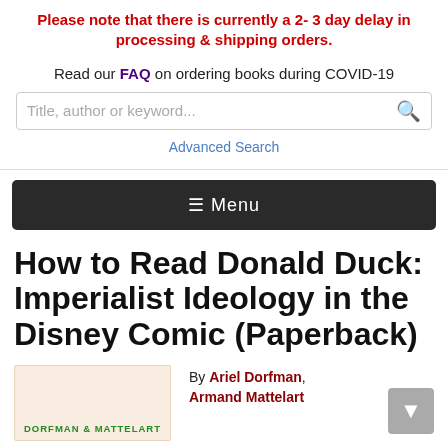Please note that there is currently a 2- 3 day delay in processing & shipping orders.
Read our FAQ on ordering books during COVID-19
Advanced Search
≡ Menu
How to Read Donald Duck: Imperialist Ideology in the Disney Comic (Paperback)
By Ariel Dorfman, Armand Mattelart